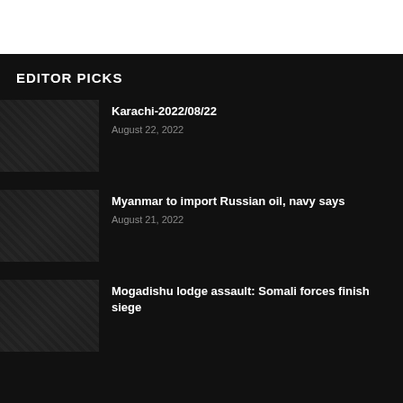EDITOR PICKS
Karachi-2022/08/22
August 22, 2022
Myanmar to import Russian oil, navy says
August 21, 2022
Mogadishu lodge assault: Somali forces finish siege